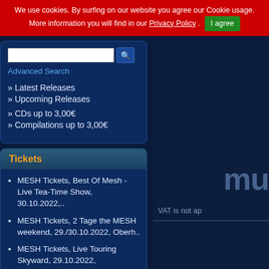We use cookies. By surfing on our website you agree our Cookie usage. More information you will find in our Privacy Policy . I agree
Advanced Search
» Latest Releases
» Upcoming Releases
» CDs up to 3,00€
» Compilations up to 3,00€
Tickets
MESH Tickets, Best Of Mesh - Live Tea-Time Show, 30.10.2022,...
MESH Tickets, 2 Tage the MESH weekend, 29./30.10.2022, Oberh..
MESH Tickets, Live Touring Skyward, 29.10.2022, Oberhausen, ..
VAT is not ap